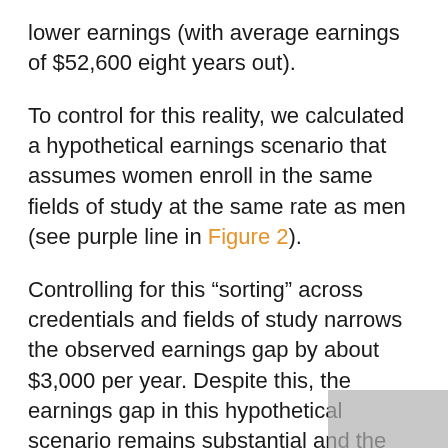lower earnings (with average earnings of $52,600 eight years out).
To control for this reality, we calculated a hypothetical earnings scenario that assumes women enroll in the same fields of study at the same rate as men (see purple line in Figure 2).
Controlling for this “sorting” across credentials and fields of study narrows the observed earnings gap by about $3,000 per year. Despite this, the earnings gap in this hypothetical scenario remains substantial and the trend unchanged: the gap between men and women widens every year after